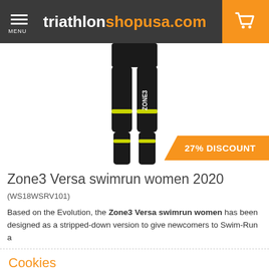triathlon shopusa.com
[Figure (photo): Zone3 Versa swimrun women wetsuit 2020 product photo, black with yellow/green accents, cropped to lower torso and legs. Orange banner with '27% DISCOUNT' text overlay.]
Zone3 Versa swimrun women 2020
(WS18WSRV101)
Based on the Evolution, the Zone3 Versa swimrun women has been designed as a stripped-down version to give newcomers to Swim-Run a
Cookies
When using this website you agree with our cookies.
I AGREE